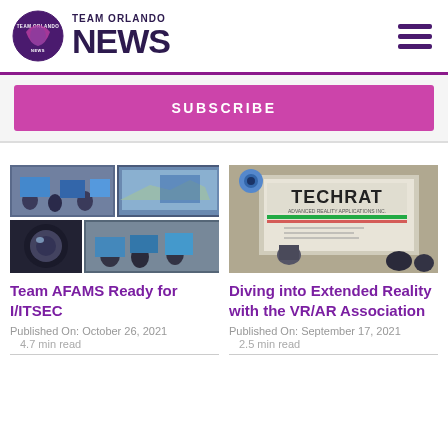TEAM ORLANDO NEWS
SUBSCRIBE
[Figure (photo): Collage of military simulation/training room images with personnel at screens and computer displays]
Team AFAMS Ready for I/ITSEC
Published On: October 26, 2021
4.7 min read
[Figure (photo): Photo of a TechRAT presentation with a speaker at a screen showing TECHRAT branding]
Diving into Extended Reality with the VR/AR Association
Published On: September 17, 2021
2.5 min read